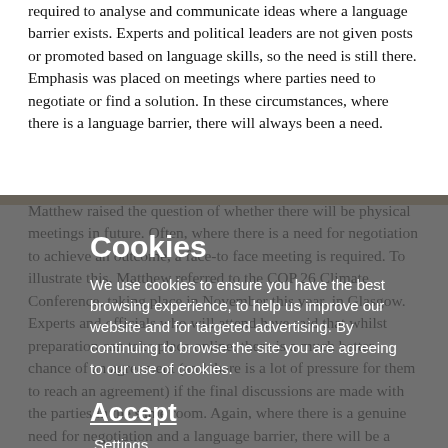required to analyse and communicate ideas where a language barrier exists. Experts and political leaders are not given posts or promoted based on language skills, so the need is still there. Emphasis was placed on meetings where parties need to negotiate or find a solution. In these circumstances, where there is a language barrier, there will always been a need.
Matthew raised the question of whether there will be physical meetings in future. Often, where there is a need for negotiation to achieve an outcome, a face-to face meeting is required. To illustrate this, Matthew referred to the COP 26 Climate Conference, taking place in November this year, in Glasgow. Experts and officials who will attend have said that whilst preparation can take place online, there is a much better chance of an agreement (and there is a lot of pressure for them to reach an agreement) if the final discussions are made with the parties in the same room. Again, where there is a genuine need for negotiation and a language barrier, there will be a need for interpretation.
[Figure (other): Cookie consent overlay with title 'Cookies', body text about cookie usage for browsing experience and targeted advertising, and buttons: Accept, Settings, Find out more]
A fascinating section of the talk was when Matthew reflected on the implications of remote interpreting on the interpreter's presentation. In remote, it is essential that the interpreter use their